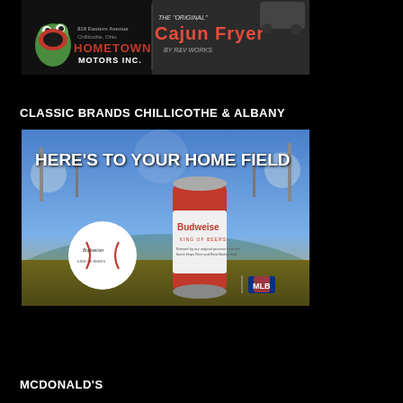[Figure (advertisement): Hometown Motors Inc. advertisement showing a frog mascot and Cajun Fryer by R&V Works, located at 818 Eastern Avenue, Chillicothe, Ohio]
CLASSIC BRANDS CHILLICOTHE & ALBANY
[Figure (advertisement): Budweiser beer advertisement with text HERE'S TO YOUR HOME FIELD showing a Budweiser can and baseball in a stadium, with Budweiser and MLB logos]
MCDONALD'S